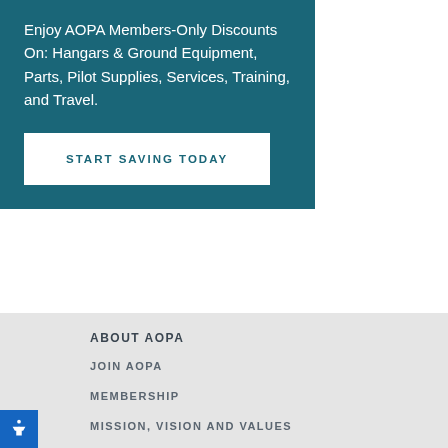Enjoy AOPA Members-Only Discounts On: Hangars & Ground Equipment, Parts, Pilot Supplies, Services, Training, and Travel.
START SAVING TODAY
ABOUT AOPA
JOIN AOPA
MEMBERSHIP
MISSION, VISION AND VALUES
GOVERNANCE
JOIN THE AOPA TEAM